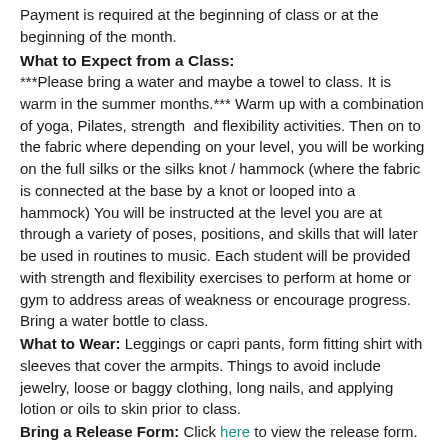Payment is required at the beginning of class or at the beginning of the month.
What to Expect from a Class:
***Please bring a water and maybe a towel to class. It is warm in the summer months.*** Warm up with a combination of yoga, Pilates, strength and flexibility activities. Then on to the fabric where depending on your level, you will be working on the full silks or the silks knot / hammock (where the fabric is connected at the base by a knot or looped into a hammock) You will be instructed at the level you are at through a variety of poses, positions, and skills that will later be used in routines to music. Each student will be provided with strength and flexibility exercises to perform at home or gym to address areas of weakness or encourage progress. Bring a water bottle to class.
What to Wear: Leggings or capri pants, form fitting shirt with sleeves that cover the armpits. Things to avoid include jewelry, loose or baggy clothing, long nails, and applying lotion or oils to skin prior to class.
Bring a Release Form: Click here to view the release form.